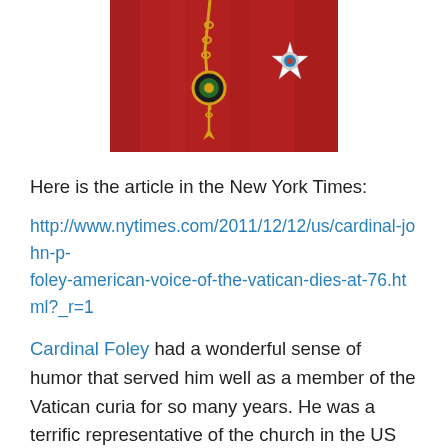[Figure (photo): Photograph showing red cardinal vestments with gold chain pendant and decorative star badge/medallion]
Here is the article in the New York Times:
http://www.nytimes.com/2011/12/12/us/cardinal-john-p-foley-american-voice-of-the-vatican-dies-at-76.html?_r=1
Cardinal Foley had a wonderful sense of humor that served him well as a member of the Vatican curia for so many years. He was a terrific representative of the church in the US and an ambassador for authentic communication and communicators wherever he found them.
A dinner with Cardinal Foley was always a joy.